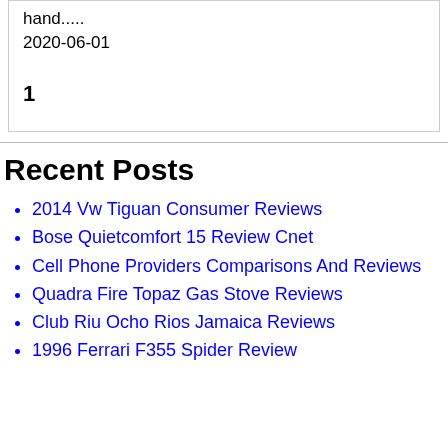hand.....
2020-06-01
1
Recent Posts
2014 Vw Tiguan Consumer Reviews
Bose Quietcomfort 15 Review Cnet
Cell Phone Providers Comparisons And Reviews
Quadra Fire Topaz Gas Stove Reviews
Club Riu Ocho Rios Jamaica Reviews
1996 Ferrari F355 Spider Review